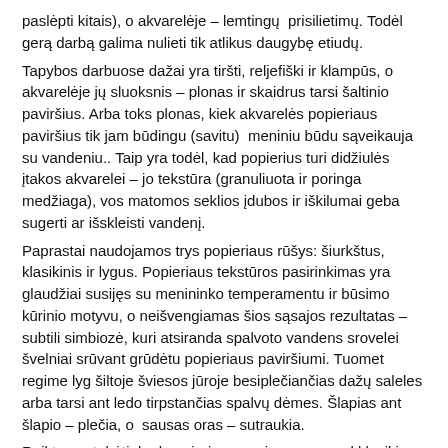paslėpti kitais), o akvarelėje – lemtingų prisilietimų. Todėl gerą darbą galima nulieti tik atlikus daugybę etiudų.
Tapybos darbuose dažai yra tiršti, reljefiški ir klampūs, o akvarelėje jų sluoksnis – plonas ir skaidrus tarsi šaltinio paviršius. Arba toks plonas, kiek akvarelės popieriaus paviršius tik jam būdingu (savitu) meniniu būdu sąveikauja su vandeniu.. Taip yra todėl, kad popierius turi didžiulės įtakos akvarelei – jo tekstūra (granuliuota ir poringa medžiaga), vos matomos seklios įdubos ir iškilumai geba sugerti ar išskleisti vandenį.
Paprastai naudojamos trys popieriaus rūšys: šiurkštus, klasikinis ir lygus. Popieriaus tekstūros pasirinkimas yra glaudžiai susijęs su menininko temperamentu ir būsimo kūrinio motyvu, o neišvengiamas šios sąsajos rezultatas – subtili simbiozė, kuri atsiranda spalvoto vandens srovelei švelniai srūvant grūdėtu popieriaus paviršiumi. Tuomet regime lyg šiltoje šviesos jūroje besiplečiančias dažų saleles arba tarsi ant ledo tirpstančias spalvų dėmes. Šlapias ant šlapio – plečia, o  sausas oras – sutraukia.
Reiktų pastebėti, kad popierius, gaminamas pagal klasikinę tradiciją iš šaltu būdu spaudžiamų audeklo sluoksnių,  estetiniu ir socialiniu požiūriu, tiesą sakant, yra gerokai atitolęs nuo paties akvarelės pigmento ir modaus, kuris naudojamas, gaminant akvarelės dažus